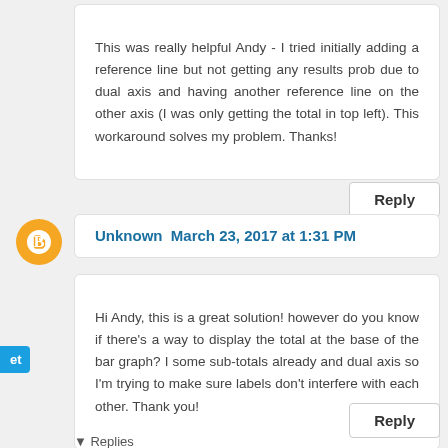This was really helpful Andy - I tried initially adding a reference line but not getting any results prob due to dual axis and having another reference line on the other axis (I was only getting the total in top left). This workaround solves my problem. Thanks!
Reply
Unknown March 23, 2017 at 1:31 PM
Hi Andy, this is a great solution! however do you know if there's a way to display the total at the base of the bar graph? I some sub-totals already and dual axis so I'm trying to make sure labels don't interfere with each other. Thank you!
Reply
▼ Replies